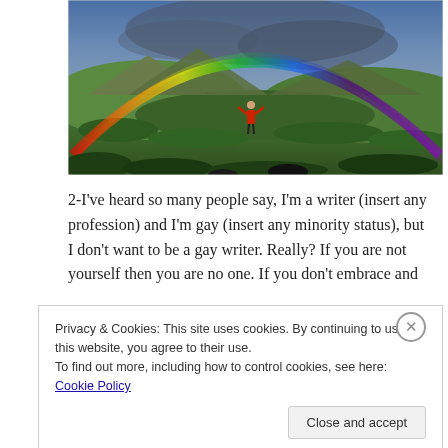[Figure (photo): Panoramic landscape photo showing green mountains under a dramatic full rainbow arching across a stormy-blue sky. A person in a red jacket stands in the meadow with arms raised. A secondary rainbow is faintly visible.]
2-I've heard so many people say, I'm a writer (insert any profession) and I'm gay (insert any minority status), but I don't want to be a gay writer. Really? If you are not yourself then you are no one. If you don't embrace and
Privacy & Cookies: This site uses cookies. By continuing to use this website, you agree to their use.
To find out more, including how to control cookies, see here: Cookie Policy
Close and accept
We all have them!